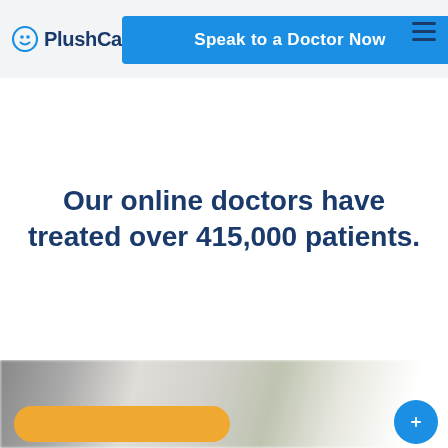PlushCare
Speak to a Doctor Now
Our online doctors have treated over 415,000 patients.
[Figure (photo): Partial view of a blurred lifestyle/medical photo at the bottom of the page, with an orange pill-shaped button and a blue circular button partially visible]